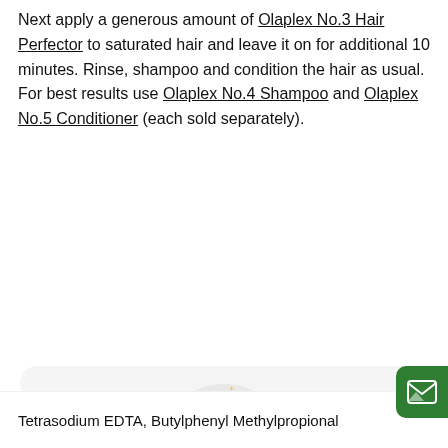Next apply a generous amount of Olaplex No.3 Hair Perfector to saturated hair and leave it on for additional 10 minutes. Rinse, shampoo and condition the hair as usual. For best results use Olaplex No.4 Shampoo and Olaplex No.5 Conditioner (each sold separately).
[Figure (illustration): A modal popup with a sparkle/star icon inside a light gray circle, title 'Unlock exclusive rewards and perks', subtitle 'Sign up or Log in', a purple 'Sign up' button, and a 'Already have an account? Sign in' link. A green email icon button appears at the top right edge of the modal.]
Tetrasodium EDTA, Butylphenyl Methylpropional